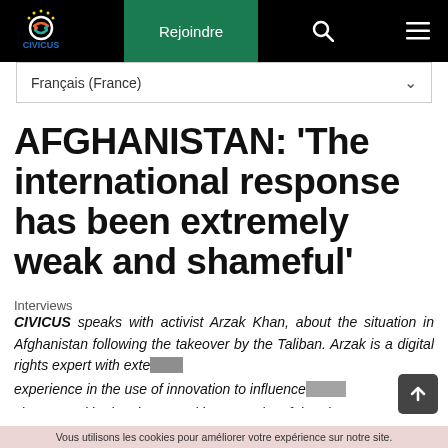[Figure (screenshot): CIVICUS website navigation bar with logo, Rejoindre button, search icon, and hamburger menu on black background with green accent]
Français (France)
AFGHANISTAN: ‘The international response has been extremely weak and shameful’
Interviews
CIVICUS speaks with activist Arzak Khan, about the situation in Afghanistan following the takeover by the Taliban. Arzak is a digital rights expert with extensive experience in the use of innovation to influence social change and he has been working to assist Afghan human
Vous utilisons les cookies pour améliorer votre expérience sur notre site.